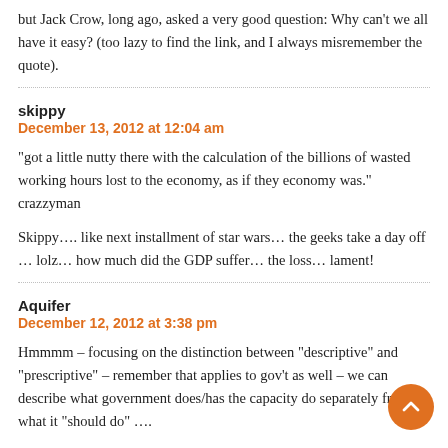but Jack Crow, long ago, asked a very good question: Why can't we all have it easy? (too lazy to find the link, and I always misremember the quote).
skippy
December 13, 2012 at 12:04 am
“got a little nutty there with the calculation of the billions of wasted working hours lost to the economy, as if they economy was.” crazzyman
Skippy…. like next installment of star wars… the geeks take a day off … lolz… how much did the GDP suffer… the loss… lament!
Aquifer
December 12, 2012 at 3:38 pm
Hmmmm – focusing on the distinction between “descriptive” and “prescriptive” – remember that applies to gov't as well – we can describe what government does/has the capacity do separately from what it “should do” ….
Kalte also we get a history on China as in two notions and civil...